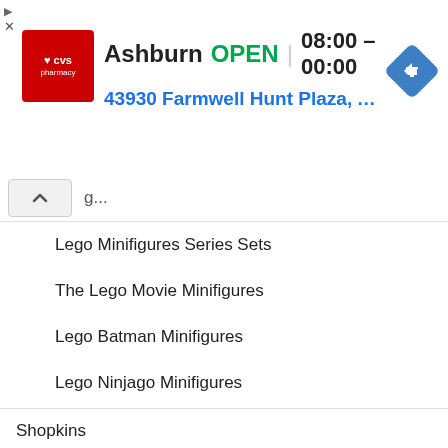[Figure (screenshot): CVS Pharmacy advertisement banner showing Ashburn location, OPEN status, hours 08:00-00:00, and address 43930 Farmwell Hunt Plaza, Ash...]
Lego Minifigures Series Sets
The Lego Movie Minifigures
Lego Batman Minifigures
Lego Ninjago Minifigures
Shopkins
Shopkins Season 11
Shopkins Season 10
Shopkins Lil' Secrets
Shopkins Plush Plushies
Shopkins Cutie Cars